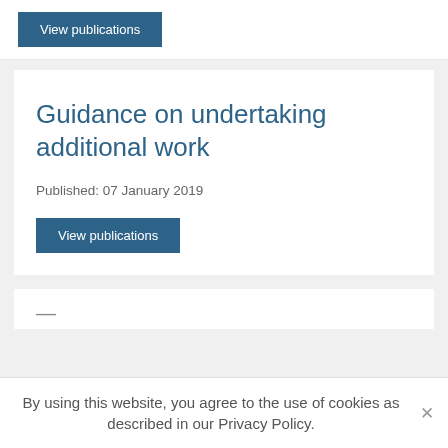[Figure (other): Blue 'View publications' button at top of page]
Guidance on undertaking additional work
Published: 07 January 2019
[Figure (other): Blue 'View publications' button]
By using this website, you agree to the use of cookies as described in our Privacy Policy.